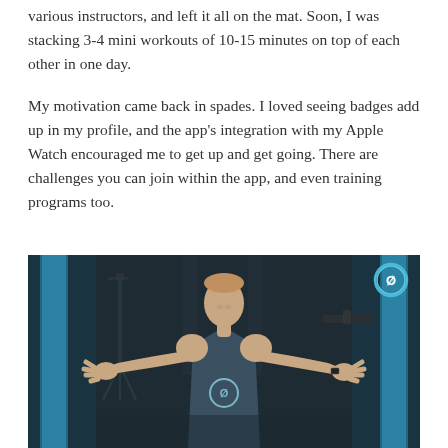various instructors, and left it all on the mat. Soon, I was stacking 3-4 mini workouts of 10-15 minutes on top of each other in one day.
My motivation came back in spades. I loved seeing badges add up in my profile, and the app’s integration with my Apple Watch encouraged me to get up and get going. There are challenges you can join within the app, and even training programs too.
[Figure (photo): A male Peloton fitness instructor in a dark blue sleeveless Peloton tank top stands with arms outstretched wide in a Peloton studio. The studio has blue LED accent lighting on vertical panels in the background. The Peloton logo (circular P) is visible on his shirt and in the upper right corner of the frame.]